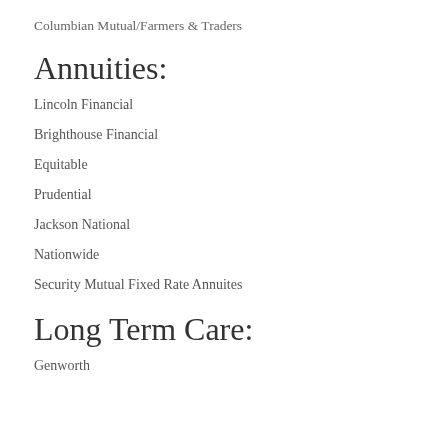Columbian Mutual/Farmers & Traders
Annuities:
Lincoln Financial
Brighthouse Financial
Equitable
Prudential
Jackson National
Nationwide
Security Mutual Fixed Rate Annuites
Long Term Care:
Genworth